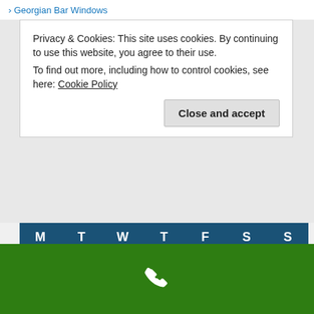› Georgian Bar Windows
Privacy & Cookies: This site uses cookies. By continuing to use this website, you agree to their use.
To find out more, including how to control cookies, see here: Cookie Policy
Close and accept
| M | T | W | T | F | S | S |
| --- | --- | --- | --- | --- | --- | --- |
| 1 | 2 | 3 | 4 | 5 | 6 | 7 |
| 8 | 9 | 10 | 11 | 12 | 13 | 14 |
| 15 | 16 | 17 | 18 | 19 | 20 | 21 |
| 22 | 23 | 24 | 25 | 26 | 27 | 28 |
| 29 | 30 | 31 |  |  |  |  |
[Figure (other): Green footer bar with white phone handset icon]